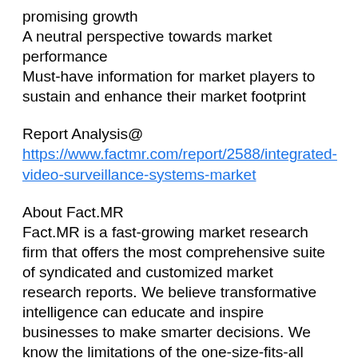promising growth
A neutral perspective towards market performance
Must-have information for market players to sustain and enhance their market footprint
Report Analysis@
https://www.factmr.com/report/2588/integrated-video-surveillance-systems-market
About Fact.MR
Fact.MR is a fast-growing market research firm that offers the most comprehensive suite of syndicated and customized market research reports. We believe transformative intelligence can educate and inspire businesses to make smarter decisions. We know the limitations of the one-size-fits-all